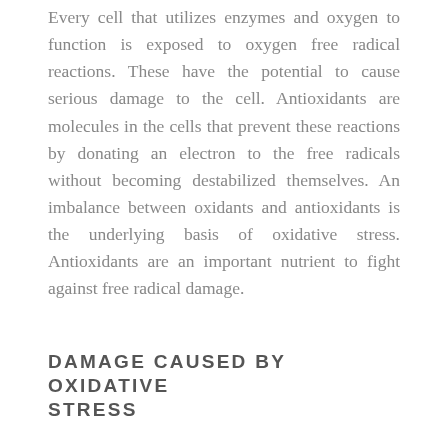Every cell that utilizes enzymes and oxygen to function is exposed to oxygen free radical reactions. These have the potential to cause serious damage to the cell. Antioxidants are molecules in the cells that prevent these reactions by donating an electron to the free radicals without becoming destabilized themselves. An imbalance between oxidants and antioxidants is the underlying basis of oxidative stress. Antioxidants are an important nutrient to fight against free radical damage.
DAMAGE CAUSED BY OXIDATIVE STRESS
One of the most important factors linked to aging and chronic diseases is the accumulation of oxidative stress. Neurodegenerative diseases, gene mutations and cancers, heart and blood vessel disorders, heart failure, and inflammatory disease have all been linked